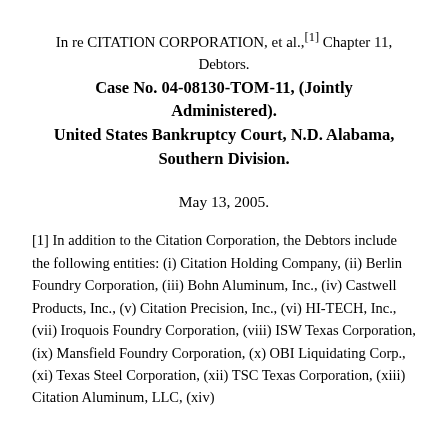In re CITATION CORPORATION, et al.,[1] Chapter 11, Debtors. Case No. 04-08130-TOM-11, (Jointly Administered). United States Bankruptcy Court, N.D. Alabama, Southern Division.
May 13, 2005.
[1] In addition to the Citation Corporation, the Debtors include the following entities: (i) Citation Holding Company, (ii) Berlin Foundry Corporation, (iii) Bohn Aluminum, Inc., (iv) Castwell Products, Inc., (v) Citation Precision, Inc., (vi) HI-TECH, Inc., (vii) Iroquois Foundry Corporation, (viii) ISW Texas Corporation, (ix) Mansfield Foundry Corporation, (x) OBI Liquidating Corp., (xi) Texas Steel Corporation, (xii) TSC Texas Corporation, (xiii) Citation Aluminum, LLC, (xiv)